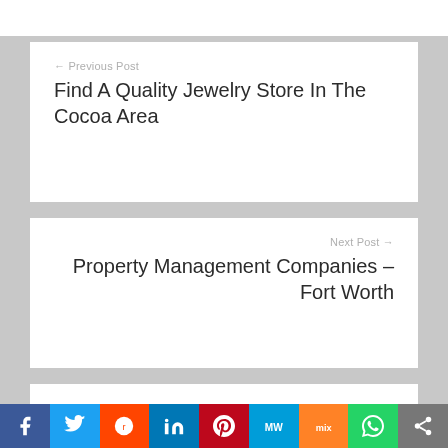← Previous Post
Find A Quality Jewelry Store In The Cocoa Area
Next Post →
Property Management Companies – Fort Worth
Recent Posts
Don't Ignore the Signs It's Time for Residential